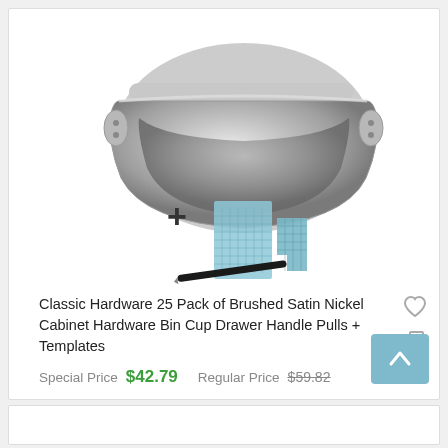[Figure (photo): A brushed satin nickel cabinet bin cup drawer handle pull, plus a plus sign symbol, plus blue template cards and a black drill bit/tool.]
Classic Hardware 25 Pack of Brushed Satin Nickel Cabinet Hardware Bin Cup Drawer Handle Pulls + Templates
Special Price $42.79   Regular Price $59.82